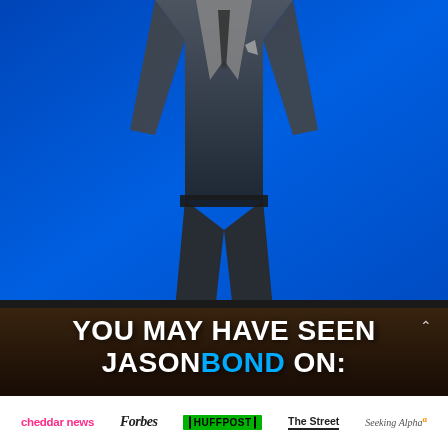[Figure (photo): Top half: man in dark suit standing on a stage against a bright blue background, photo is cropped showing torso down to feet. Bottom half: conference audience in a large hall with a speaker on stage, presentation screen visible on left side.]
YOU MAY HAVE SEEN JASONBOND ON:
cheddar news   Forbes   HUFFPOST   The Street   Seeking Alpha